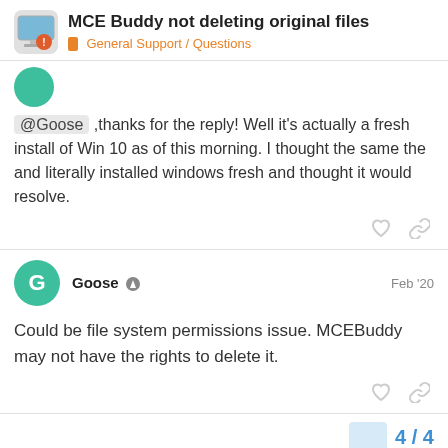MCE Buddy not deleting original files — General Support / Questions
@Goose ,thanks for the reply! Well it's actually a fresh install of Win 10 as of this morning. I thought the same the and literally installed windows fresh and thought it would resolve.
Goose  Feb '20
Could be file system permissions issue. MCEBuddy may not have the rights to delete it.
4 / 4
Reply